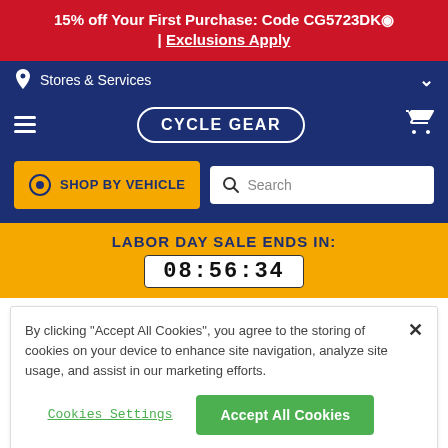15% off Your First Purchase: Code CG5723DK | Exclusions Apply
Stores & Services
[Figure (logo): Cycle Gear logo in white oval on navy background]
SHOP BY VEHICLE
Search
LABOR DAY SALE ENDS IN:
08:56:34
By clicking "Accept All Cookies", you agree to the storing of cookies on your device to enhance site navigation, analyze site usage, and assist in our marketing efforts.
Cookies Settings
Accept All Cookies